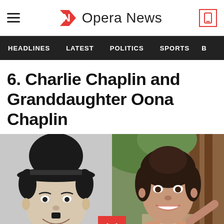Opera News
HEADLINES  LATEST  POLITICS  SPORTS
6. Charlie Chaplin and Granddaughter Oona Chaplin
[Figure (photo): Side-by-side photos: left is a classic black and white portrait of Charlie Chaplin wearing his iconic bowler hat and smiling; right is a color photo of Oona Chaplin, a young woman with dark hair, smiling outdoors near some trees, wearing a red top and patterned jacket. A red scroll/down arrow button appears at the bottom center.]